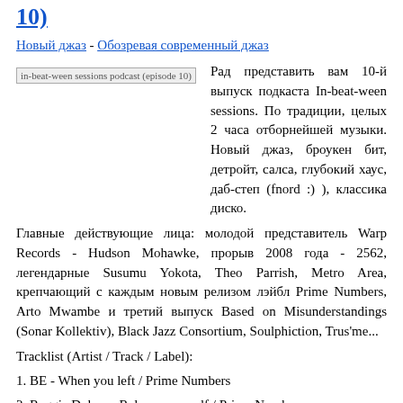10)
Новый джаз - Обозревая современный джаз
[Figure (other): Podcast cover image placeholder: in-beat-ween sessions podcast (episode 10)]
Рад представить вам 10-й выпуск подкаста In-beat-ween sessions. По традиции, целых 2 часа отборнейшей музыки. Новый джаз, броукен бит, детройт, салса, глубокий хаус, даб-степ (fnord :) ), классика диско.
Главные действующие лица: молодой представитель Warp Records - Hudson Mohawke, прорыв 2008 года - 2562, легендарные Susumu Yokota, Theo Parrish, Metro Area, крепчающий с каждым новым релизом лэйбл Prime Numbers, Arto Mwambe и третий выпуск Based on Misunderstandings (Sonar Kollektiv), Black Jazz Consortium, Soulphiction, Trus'me...
Tracklist (Artist / Track / Label):
1. BE - When you left / Prime Numbers
2. Reggie Dokes – Release yourself / Prime Numbers
3. Soulphiction – Underground railroad / Philpo